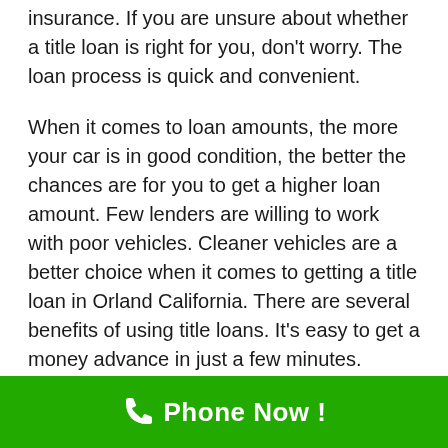insurance. If you are unsure about whether a title loan is right for you, don't worry. The loan process is quick and convenient.
When it comes to loan amounts, the more your car is in good condition, the better the chances are for you to get a higher loan amount. Few lenders are willing to work with poor vehicles. Cleaner vehicles are a better choice when it comes to getting a title loan in Orland California. There are several benefits of using title loans. It's easy to get a money advance in just a few minutes.
Title Loans Orland CA...
Phone Now !